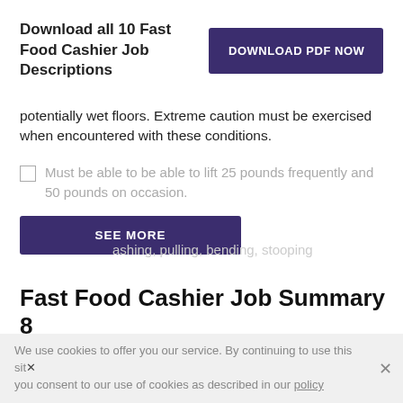Download all 10 Fast Food Cashier Job Descriptions
[Figure (other): DOWNLOAD PDF NOW button]
potentially wet floors. Extreme caution must be exercised when encountered with these conditions.
Must be able to be able to lift 25 pounds frequently and 50 pounds on occasion.
[Figure (other): SEE MORE button]
ashing, pulling, bending, stooping
Fast Food Cashier Job Summary 8
A Fast Food Cashier individual will be expected to underst...
We use cookies to offer you our service. By continuing to use this site you consent to our use of cookies as described in our policy